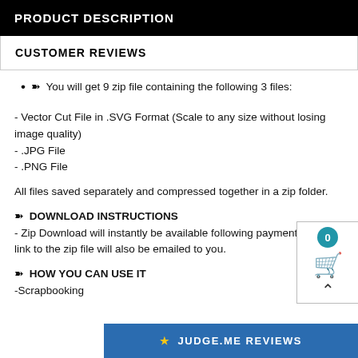PRODUCT DESCRIPTION
CUSTOMER REVIEWS
➽ You will get 9 zip file containing the following 3 files:
- Vector Cut File in .SVG Format (Scale to any size without losing image quality)
- .JPG File
- .PNG File
All files saved separately and compressed together in a zip folder.
➽ DOWNLOAD INSTRUCTIONS
- Zip Download will instantly be available following payment and a link to the zip file will also be emailed to you.
➽ HOW YOU CAN USE IT
-Scrapbooking